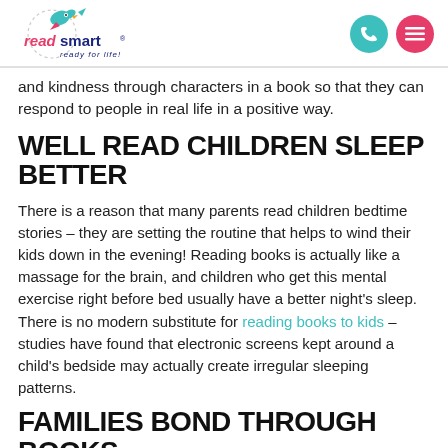read smart — ready for life! [logo with phone and menu icons]
and kindness through characters in a book so that they can respond to people in real life in a positive way.
WELL READ CHILDREN SLEEP BETTER
There is a reason that many parents read children bedtime stories – they are setting the routine that helps to wind their kids down in the evening! Reading books is actually like a massage for the brain, and children who get this mental exercise right before bed usually have a better night's sleep. There is no modern substitute for reading books to kids – studies have found that electronic screens kept around a child's bedside may actually create irregular sleeping patterns.
FAMILIES BOND THROUGH BOOKS